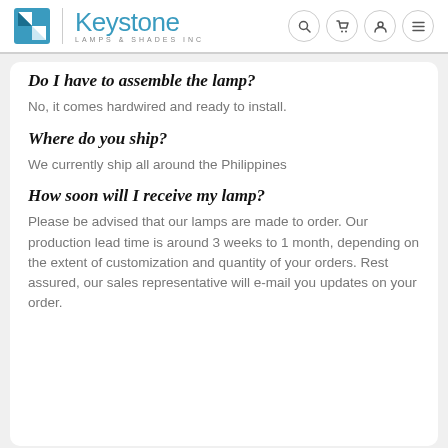Keystone Lamps & Shades Inc
Do I have to assemble the lamp?
No, it comes hardwired and ready to install.
Where do you ship?
We currently ship all around the Philippines
How soon will I receive my lamp?
Please be advised that our lamps are made to order. Our production lead time is around 3 weeks to 1 month, depending on the extent of customization and quantity of your orders. Rest assured, our sales representative will e-mail you updates on your order.